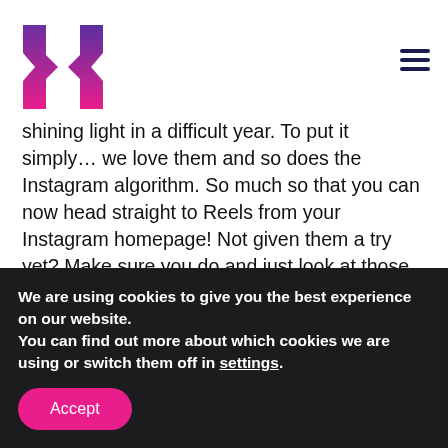[Figure (logo): Brand logo with two arrow-like shapes in pink-to-purple gradient forming an H shape]
shining light in a difficult year. To put it simply… we love them and so does the Instagram algorithm. So much so that you can now head straight to Reels from your Instagram homepage! Not given them a try yet? Make sure you do and just look at those video view numbers compared to your news feed videos…
▶ Speaking of video… from Reels and IGTV on Instagram to simple Facebook videos, make sure you're creating relevant video that your audience can relate to in 2021.
We are using cookies to give you the best experience on our website.
You can find out more about which cookies we are using or switch them off in settings.
Accept